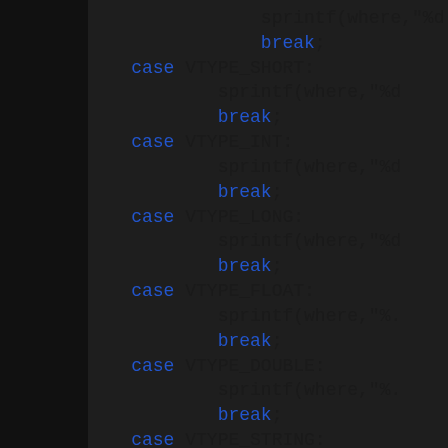[Figure (screenshot): Source code snippet showing a switch-case block in C with cases for VTYPE_SHORT, VTYPE_INT, VTYPE_LONG, VTYPE_FLOAT, VTYPE_DOUBLE, VTYPE_STRING, each with sprintf or strncpy calls and break statements, displayed in a dark IDE theme.]